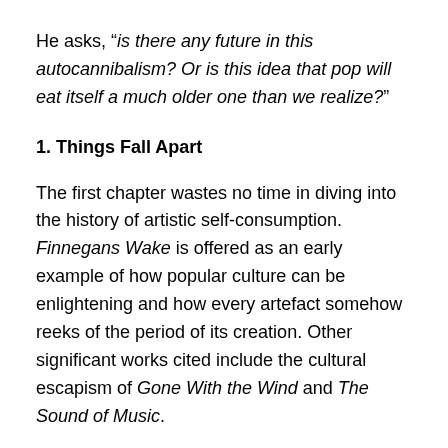He asks, “is there any future in this autocannibalism? Or is this idea that pop will eat itself a much older one than we realize?”
1. Things Fall Apart
The first chapter wastes no time in diving into the history of artistic self-consumption. Finnegans Wake is offered as an early example of how popular culture can be enlightening and how every artefact somehow reeks of the period of its creation. Other significant works cited include the cultural escapism of Gone With the Wind and The Sound of Music.
Beadle begins to examine the temporal nature of cultural phenomena, describing the disintegration of cultural hegemony – the Soviet Union lasting fewer than 75 years